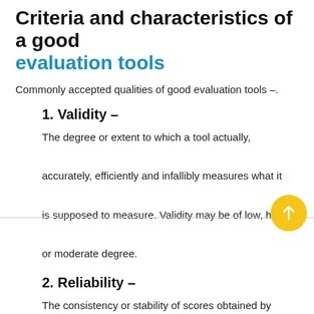Criteria and characteristics of a good evaluation tools
Commonly accepted qualities of good evaluation tools –.
1. Validity –
The degree or extent to which a tool actually, accurately, efficiently and infallibly measures what it is supposed to measure. Validity may be of low, high or moderate degree.
2. Reliability –
The consistency or stability of scores obtained by the same individual under re-examination and variable examining conditions.